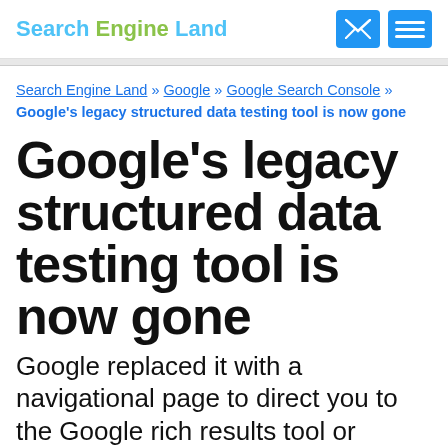Search Engine Land
Search Engine Land » Google » Google Search Console » Google's legacy structured data testing tool is now gone
Google's legacy structured data testing tool is now gone
Google replaced it with a navigational page to direct you to the Google rich results tool or Schema.org tool